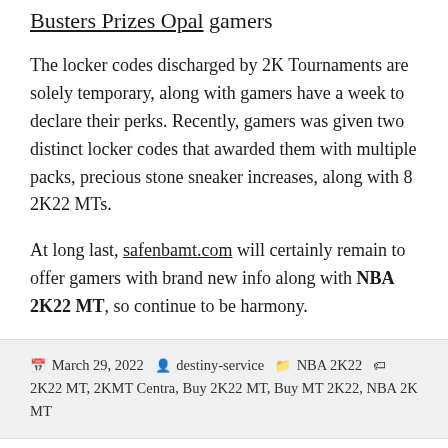Busters Prizes Opal gamers
The locker codes discharged by 2K Tournaments are solely temporary, along with gamers have a week to declare their perks. Recently, gamers was given two distinct locker codes that awarded them with multiple packs, precious stone sneaker increases, along with 8 2K22 MTs.
At long last, safenbamt.com will certainly remain to offer gamers with brand new info along with NBA 2K22 MT, so continue to be harmony.
March 29, 2022  destiny-service  NBA 2K22  2K22 MT, 2KMT Centra, Buy 2K22 MT, Buy MT 2K22, NBA 2K MT
Precisely how to trade gifts